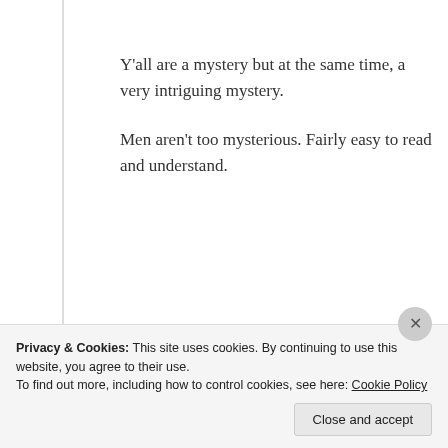Y'all are a mystery but at the same time, a very intriguing mystery.
Men aren't too mysterious. Fairly easy to read and understand.
★ Like
Log in to Reply
Privacy & Cookies: This site uses cookies. By continuing to use this website, you agree to their use. To find out more, including how to control cookies, see here: Cookie Policy